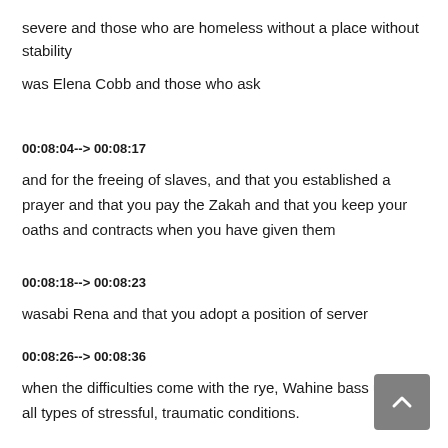severe and those who are homeless without a place without stability
was Elena Cobb and those who ask
00:08:04--> 00:08:17
and for the freeing of slaves, and that you established a prayer and that you pay the Zakah and that you keep your oaths and contracts when you have given them
00:08:18--> 00:08:23
wasabi Rena and that you adopt a position of server
00:08:26--> 00:08:36
when the difficulties come with the rye, Wahine bass under all types of stressful, traumatic conditions.